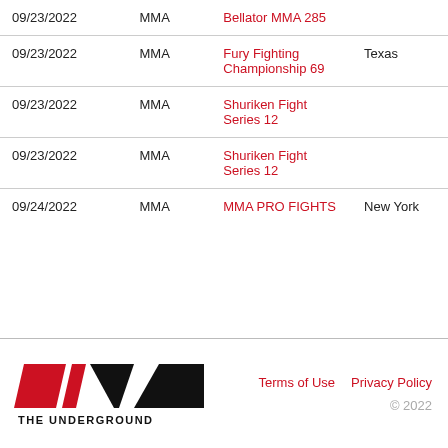| Date | Type | Event | Location |
| --- | --- | --- | --- |
| 09/23/2022 | MMA | Bellator MMA 285 |  |
| 09/23/2022 | MMA | Fury Fighting Championship 69 | Texas |
| 09/23/2022 | MMA | Shuriken Fight Series 12 |  |
| 09/23/2022 | MMA | Shuriken Fight Series 12 |  |
| 09/24/2022 | MMA | MMA PRO FIGHTS | New York |
[Figure (logo): The Underground MMA logo with red and black angular shapes and text THE UNDERGROUND]
Terms of Use   Privacy Policy
© 2022